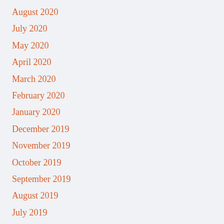August 2020
July 2020
May 2020
April 2020
March 2020
February 2020
January 2020
December 2019
November 2019
October 2019
September 2019
August 2019
July 2019
June 2019
May 2019
April 2019